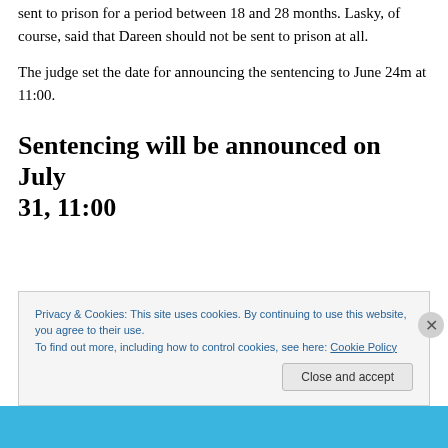sent to prison for a period between 18 and 28 months. Lasky, of course, said that Dareen should not be sent to prison at all.
The judge set the date for announcing the sentencing to June 24m at 11:00.
Sentencing will be announced on July 31, 11:00
Privacy & Cookies: This site uses cookies. By continuing to use this website, you agree to their use.
To find out more, including how to control cookies, see here: Cookie Policy